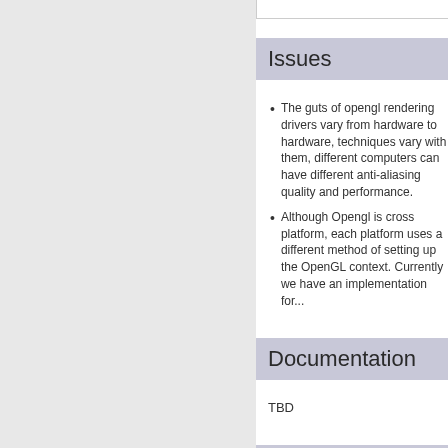Issues
The guts of opengl rendering drivers vary from hardware to hardware, techniques vary with them, different computers can have different anti-aliasing quality and performance.
Although Opengl is cross platform, each platform uses a different method of setting up the OpenGL context. Currently we have an implementation for...
Documentation
TBD
Backwards Incompatibilities
No issues expected.